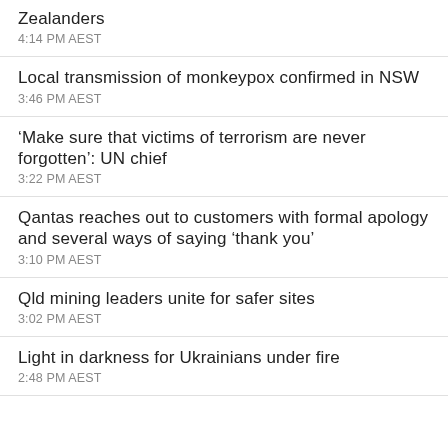Zealanders
4:14 PM AEST
Local transmission of monkeypox confirmed in NSW
3:46 PM AEST
‘Make sure that victims of terrorism are never forgotten’: UN chief
3:22 PM AEST
Qantas reaches out to customers with formal apology and several ways of saying ‘thank you’
3:10 PM AEST
Qld mining leaders unite for safer sites
3:02 PM AEST
Light in darkness for Ukrainians under fire
2:48 PM AEST